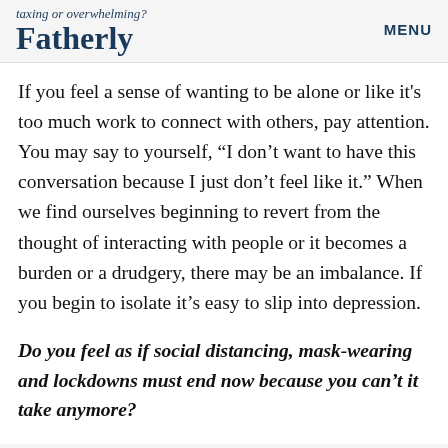taxing or overwhelming? Fatherly — MENU
If you feel a sense of wanting to be alone or like it's too much work to connect with others, pay attention. You may say to yourself, “I don’t want to have this conversation because I just don’t feel like it.” When we find ourselves beginning to revert from the thought of interacting with people or it becomes a burden or a drudgery, there may be an imbalance. If you begin to isolate it’s easy to slip into depression.
Do you feel as if social distancing, mask-wearing and lockdowns must end now because you can’t it take anymore?
ADVERTISEMENT